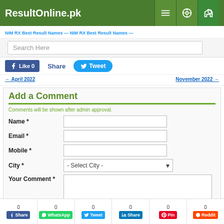ResultOnline.pk
Search Here
Like 0  Share  Tweet
Add a Comment
Comments will be shown after admin approval.
Name *
Email *
Mobile *
City *
Your Comment *
Close x
0 Share  0 WhatsApp  0 Tweet  0 Share  0 Pin  0 Reddit